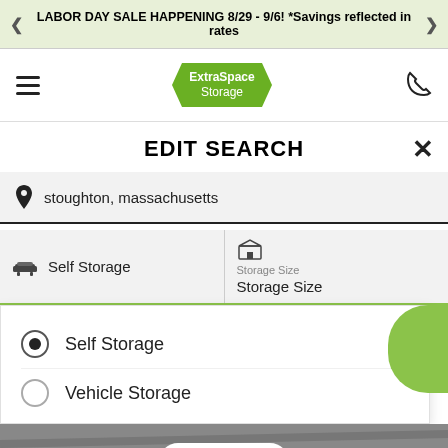LABOR DAY SALE HAPPENING 8/29 - 9/6! *Savings reflected in rates
[Figure (logo): Extra Space Storage logo — green rounded polygon shape with white text]
EDIT SEARCH
stoughton, massachusetts
Self Storage
Storage Size
Storage Size
Self Storage (selected radio button)
Vehicle Storage (unselected radio button)
MAP